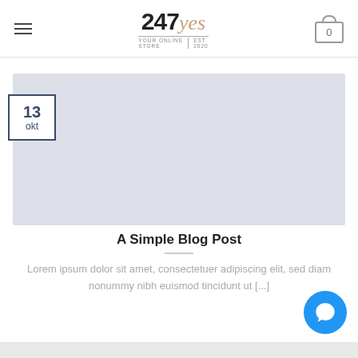247yes - Your Online Store | Est. 2020
[Figure (illustration): Light blue-grey rectangular placeholder image for a blog post]
13 okt
A Simple Blog Post
Lorem ipsum dolor sit amet, consectetuer adipiscing elit, sed diam nonummy nibh euismod tincidunt ut [...]